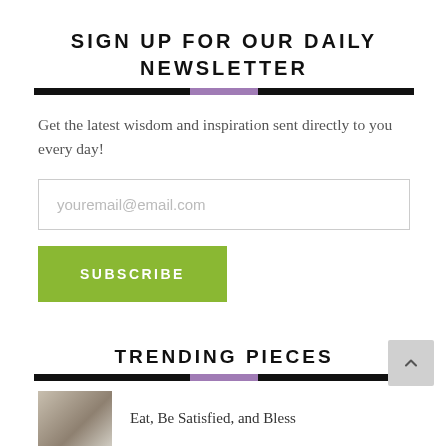SIGN UP FOR OUR DAILY NEWSLETTER
Get the latest wisdom and inspiration sent directly to you every day!
[Figure (screenshot): Email input field with placeholder text 'youremail@email.com']
[Figure (screenshot): Green Subscribe button]
TRENDING PIECES
Eat, Be Satisfied, and Bless